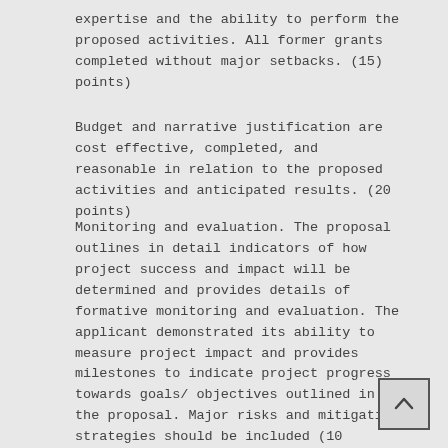expertise and the ability to perform the proposed activities. All former grants completed without major setbacks. (15) points)
Budget and narrative justification are cost effective, completed, and reasonable in relation to the proposed activities and anticipated results. (20 points)
Monitoring and evaluation. The proposal outlines in detail indicators of how project success and impact will be determined and provides details of formative monitoring and evaluation. The applicant demonstrated its ability to measure project impact and provides milestones to indicate project progress towards goals/ objectives outlined in the proposal. Major risks and mitigation strategies should be included (10 points)